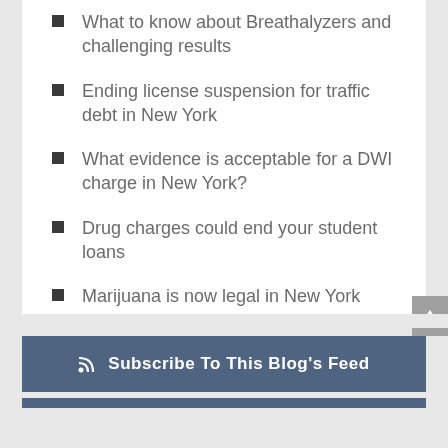What to know about Breathalyzers and challenging results
Ending license suspension for traffic debt in New York
What evidence is acceptable for a DWI charge in New York?
Drug charges could end your student loans
Marijuana is now legal in New York State
Subscribe To This Blog's Feed